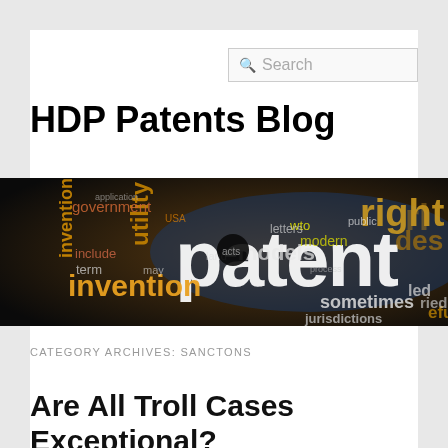Search
HDP Patents Blog
[Figure (illustration): Word cloud banner image featuring patent-related terms such as 'patent', 'invention', 'right', 'utility', 'models', 'government', 'inventions', 'sometimes', 'jurisdictions', 'wto', 'modern', 'letters', in various colors on a dark background.]
CATEGORY ARCHIVES: SANCTONS
Are All Troll Cases Exceptional?